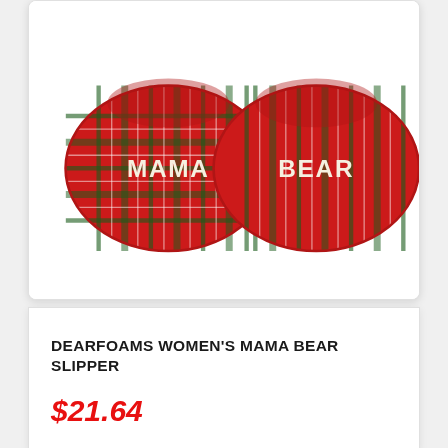[Figure (photo): Red plaid slippers with 'MAMA BEAR' text on toes, viewed from above, showing two slippers side by side]
DEARFOAMS WOMEN'S MAMA BEAR SLIPPER
$21.64
CHECK IT OUT!
[Figure (photo): Brown suede boot with white/cream fur lining and bow detail, partially visible at bottom of page]